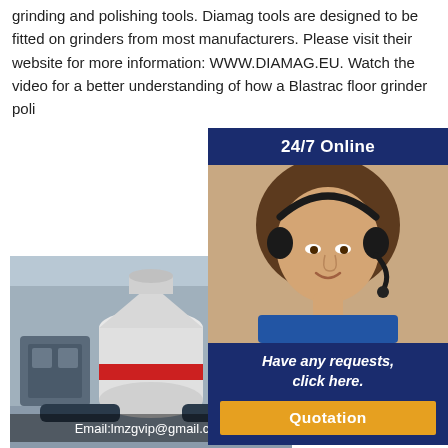grinding and polishing tools. Diamag tools are designed to be fitted on grinders from most manufacturers. Please visit their website for more information: WWW.DIAMAG.EU. Watch the video for a better understanding of how a Blastrac floor grinder poli...
[Figure (photo): Industrial machinery / crusher equipment in a large factory hall. Overlay text: Email:lmzgvip@gmail.com]
Blastrac ... 2020 ... PDF ... Blastrac ... expanded ... even ... Service...
[Figure (infographic): Sidebar with '24/7 Online' header, photo of woman with headset, text 'Have any requests, click here.' and orange 'Quotation' button]
Blastrac opened an office in Ukraine and Italy Blastrac opened an office in India and Australia Large expansions of both Poland and Netherlands production facilities Blastrac opened an office in Sweden Blastrac expanded its assembly facilities in Poland & The Netherlands Blastrac Poland is the centralized and global